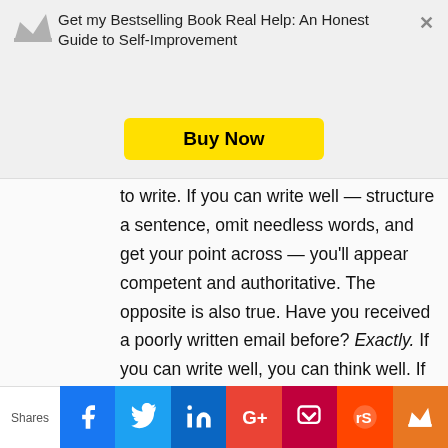[Figure (other): Promotional banner with crown icon, text 'Get my Bestselling Book Real Help: An Honest Guide to Self-Improvement' and a yellow 'Buy Now' button, with a close X button]
to write. If you can write well — structure a sentence, omit needless words, and get your point across — you'll appear competent and authoritative. The opposite is also true. Have you received a poorly written email before? Exactly. If you can write well, you can think well. If you think well, you can plan your life well. Why do you think some
Shares | Facebook | Twitter | LinkedIn | Google+ | Pocket | Reddit | Crown